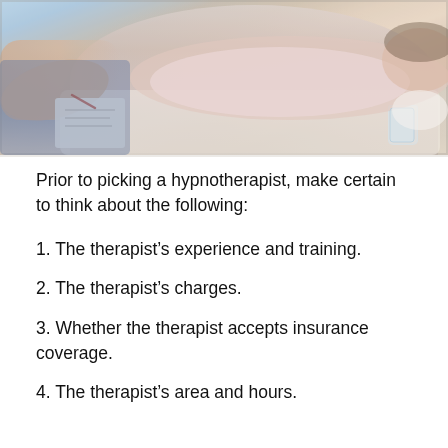[Figure (photo): A person lying on a couch or therapy sofa, appearing to be in a hypnotherapy session, with a therapist's hand visible holding a pen or pencil and a notepad. A glass of water is visible on the side.]
Prior to picking a hypnotherapist, make certain to think about the following:
1. The therapist’s experience and training.
2. The therapist’s charges.
3. Whether the therapist accepts insurance coverage.
4. The therapist’s area and hours.